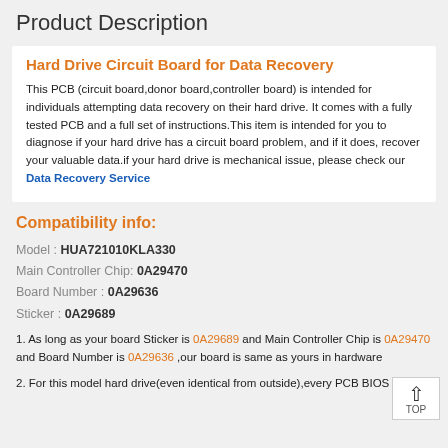Product Description
Hard Drive Circuit Board for Data Recovery
This PCB (circuit board,donor board,controller board) is intended for individuals attempting data recovery on their hard drive. It comes with a fully tested PCB and a full set of instructions.This item is intended for you to diagnose if your hard drive has a circuit board problem, and if it does, recover your valuable data.if your hard drive is mechanical issue, please check our Data Recovery Service
Compatibility info:
Model : HUA721010KLA330
Main Controller Chip: 0A29470
Board Number : 0A29636
Sticker : 0A29689
1. As long as your board Sticker is 0A29689 and Main Controller Chip is 0A29470 and Board Number is 0A29636 ,our board is same as yours in hardware
2. For this model hard drive(even identical from outside),every PCB BIOS IC